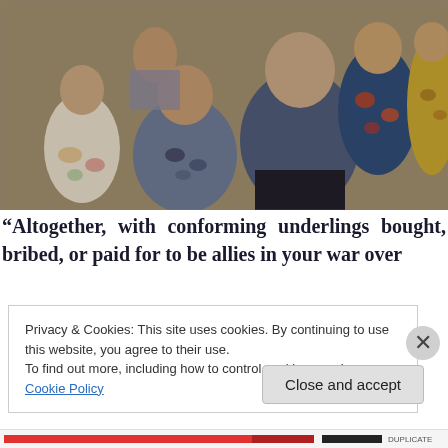[Figure (photo): A vintage family photo showing a group of adults and children all wearing matching Hawaiian/tropical print shirts. The photo appears to be from the 1970s with warm, slightly faded colors.]
“Altogether, with conforming underlings bought, bribed, or paid for to be allies in your war over
Privacy & Cookies: This site uses cookies. By continuing to use this website, you agree to their use.
To find out more, including how to control cookies, see here: Cookie Policy
Close and accept